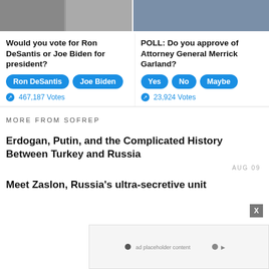[Figure (photo): Two photos side by side: left shows two men in suits (political figures for DeSantis/Biden poll), right shows a man in suit (Merrick Garland poll)]
Would you vote for Ron DeSantis or Joe Biden for president?
POLL: Do you approve of Attorney General Merrick Garland?
Ron DeSantis | Joe Biden (poll buttons)
Yes | No | Maybe (poll buttons)
467,187 Votes
23,924 Votes
MORE FROM SOFREP
Erdogan, Putin, and the Complicated History Between Turkey and Russia
AUG 09
Meet Zaslon, Russia's ultra-secretive unit
[Figure (screenshot): Advertisement overlay at bottom of page with X close button]